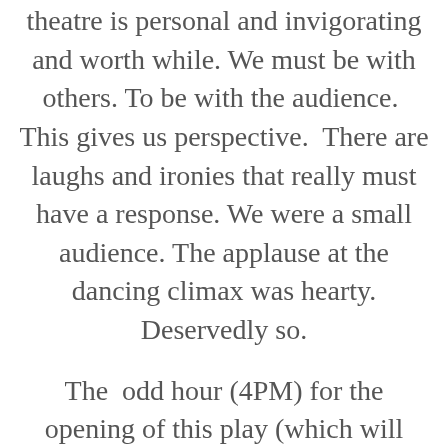theatre is personal and invigorating and worth while. We must be with others. To be with the audience.  This gives us perspective.  There are laughs and ironies that really must have a response. We were a small audience. The applause at the dancing climax was hearty. Deservedly so.
The  odd hour (4PM) for the opening of this play (which will combine later with MacIvor's "Never Swim Alone".. good advice) puts us at a sort of matinee.  It really doesn't matter because we enter into the dark: